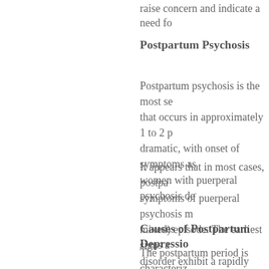raise concern and indicate a need fo
Postpartum Psychosis
Postpartum psychosis is the most se that occurs in approximately 1 to 2 p dramatic, with onset of symptoms as women with puerperal psychosis de
It appears that in most cases, postpa symptoms of puerperal psychosis m mixed) episode. The earliest signs a disorder exhibit a rapidly shifting dep or disorganized behavior. Delusiona hallucinations that instruct the mothe infanticide, as well as suicide, is sign
Causes of Postpartum Depressio
The postpartum period is characteriz first 48 hours after delivery, estroge